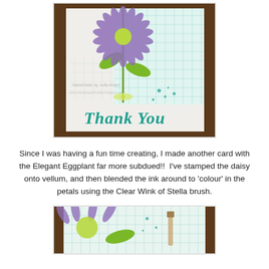[Figure (photo): Handmade thank you card featuring a purple daisy flower stamped on vellum with green leaves and a small yellow bow, set against a teal grid-patterned background. 'Thank You' is written in teal cursive script at the bottom of the card.]
Since I was having a fun time creating, I made another card with the Elegant Eggplant far more subdued!!  I've stamped the daisy onto vellum, and then blended the ink around to 'colour' in the petals using the Clear Wink of Stella brush.
[Figure (photo): Close-up photograph of purple daisy flowers on a teal grid-patterned card background, partially visible at bottom of page.]